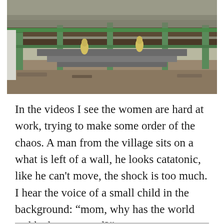[Figure (photo): Outdoor scene showing damage or disarray at what appears to be a traditional building or temple area. Green painted columns/railings are visible, along with stone or concrete steps, yellow decorative figurines, and debris/rubble on the ground suggesting destruction or disaster aftermath.]
In the videos I see the women are hard at work, trying to make some order of the chaos. A man from the village sits on a what is left of a wall, he looks catatonic, like he can't move, the shock is too much. I hear the voice of a small child in the background: “mom, why has the world suddenly gone mad?”